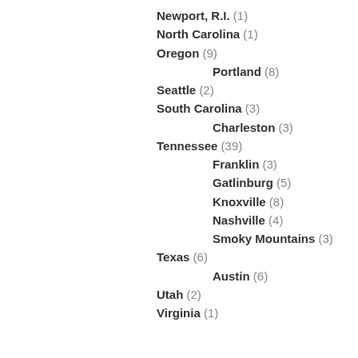Newport, R.I. (1)
North Carolina (1)
Oregon (9)
Portland (8)
Seattle (2)
South Carolina (3)
Charleston (3)
Tennessee (39)
Franklin (3)
Gatlinburg (5)
Knoxville (8)
Nashville (4)
Smoky Mountains (3)
Texas (6)
Austin (6)
Utah (2)
Virginia (1)